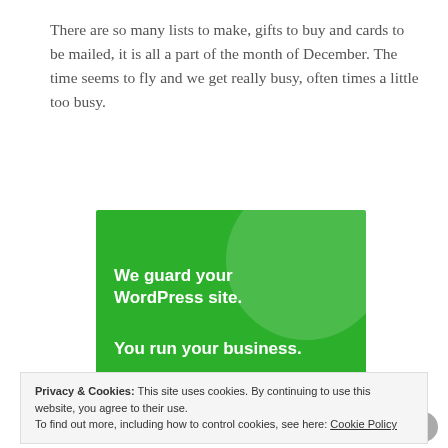There are so many lists to make, gifts to buy and cards to be mailed, it is all a part of the month of December. The time seems to fly and we get really busy, often times a little too busy.
[Figure (infographic): Green advertisement banner reading 'We guard your WordPress site. You run your business.' with a circular design element in the top right.]
Privacy & Cookies: This site uses cookies. By continuing to use this website, you agree to their use. To find out more, including how to control cookies, see here: Cookie Policy